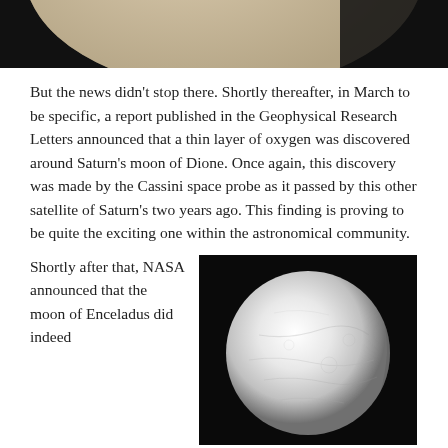[Figure (photo): Partial view of a planet or moon with a beige/tan surface against a black background, cropped at top of page]
But the news didn't stop there. Shortly thereafter, in March to be specific, a report published in the Geophysical Research Letters announced that a thin layer of oxygen was discovered around Saturn's moon of Dione. Once again, this discovery was made by the Cassini space probe as it passed by this other satellite of Saturn's two years ago. This finding is proving to be quite the exciting one within the astronomical community.
Shortly after that, NASA announced that the moon of Enceladus did indeed
[Figure (photo): Photograph of Enceladus, Saturn's moon, appearing as a white/grey sphere against a black background]